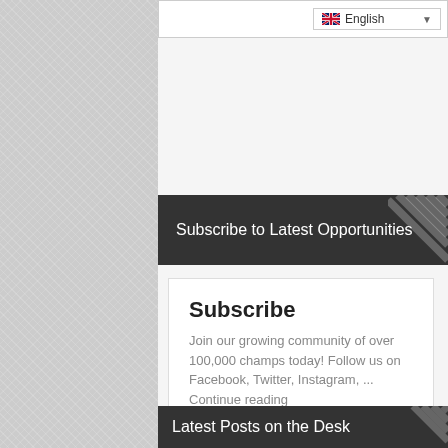English
Subscribe to Latest Opportunities
Subscribe
Join our growing community of over 100,000 champs today! Follow us on Facebook, Twitter, Instagram, ...
Continue reading
Opportunity Desk
Latest Posts on the Desk